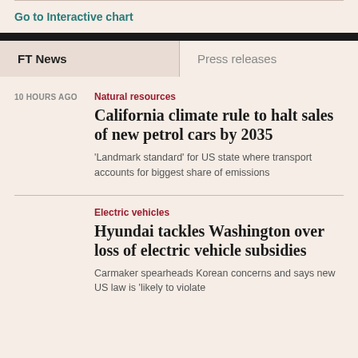Go to Interactive chart
FT News
Press releases
10 HOURS AGO
Natural resources
California climate rule to halt sales of new petrol cars by 2035
‘Landmark standard’ for US state where transport accounts for biggest share of emissions
Electric vehicles
Hyundai tackles Washington over loss of electric vehicle subsidies
Carmaker spearheads Korean concerns and says new US law is ‘likely to violate